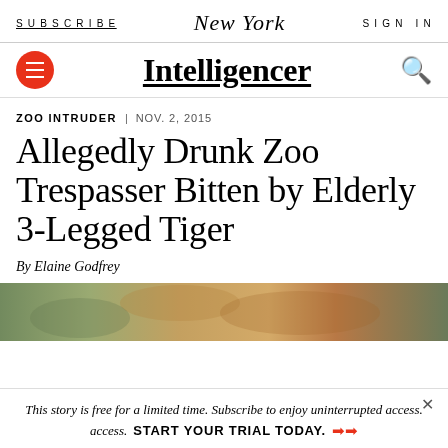SUBSCRIBE | New York | SIGN IN
Intelligencer
ZOO INTRUDER | NOV. 2, 2015
Allegedly Drunk Zoo Trespasser Bitten by Elderly 3-Legged Tiger
By Elaine Godfrey
[Figure (photo): Partial photo of a tiger, close-up, warm tones]
This story is free for a limited time. Subscribe to enjoy uninterrupted access. START YOUR TRIAL TODAY.